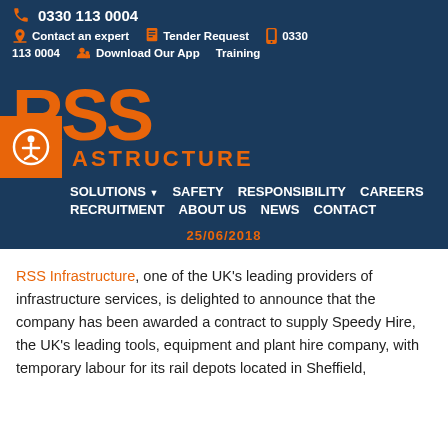0330 113 0004 | Contact an expert | Tender Request | 0330 113 0004 | Download Our App | Training
[Figure (logo): RSS Infrastructure logo in orange on dark blue background]
SOLUTIONS | SAFETY | RESPONSIBILITY | CAREERS | RECRUITMENT | ABOUT US | NEWS | CONTACT
25/06/2018
RSS Infrastructure, one of the UK's leading providers of infrastructure services, is delighted to announce that the company has been awarded a contract to supply Speedy Hire, the UK's leading tools, equipment and plant hire company, with temporary labour for its rail depots located in Sheffield,